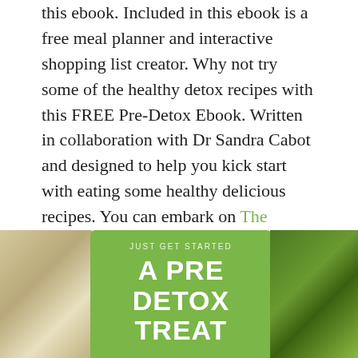this ebook. Included in this ebook is a free meal planner and interactive shopping list creator. Why not try some of the healthy detox recipes with this FREE Pre-Detox Ebook. Written in collaboration with Dr Sandra Cabot and designed to help you kick start with eating some healthy delicious recipes. You can embark on The Ultimate Detox journey as well. Grab your FREE copy on the link below. Be sure to check out all the free recipes featured in this ebook along with some of the step by step cooking videos shared on my youtube channel. I hope you will enjoy the recipes.
[Figure (illustration): Composite image showing a green promotional banner reading 'JUST GET STARTED / A PRE DETOX TREAT' flanked by food photographs on left and right sides]